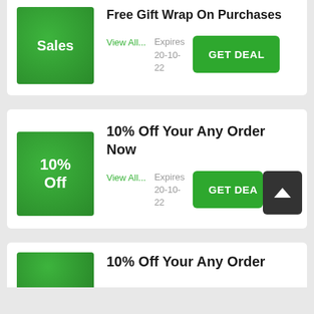[Figure (illustration): Green box with 'Sales' text]
Free Gift Wrap On Purchases
View All...
Expires 20-10-22
GET DEAL
[Figure (illustration): Green box with '10% Off' text]
10% Off Your Any Order Now
View All...
Expires 20-10-22
GET DEAL
10% Off Your Any Order